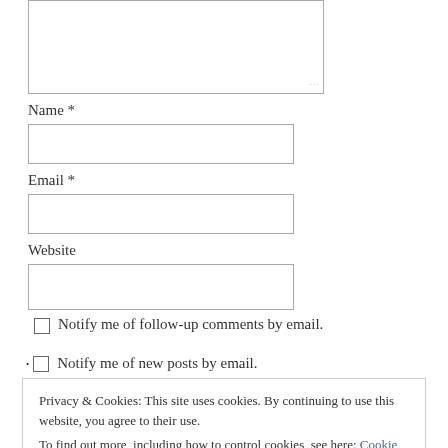[Figure (other): Textarea input box (partially visible at top of page)]
Name *
[Figure (other): Name text input field]
Email *
[Figure (other): Email text input field]
Website
[Figure (other): Website text input field]
Notify me of follow-up comments by email.
Notify me of new posts by email.
Privacy & Cookies: This site uses cookies. By continuing to use this website, you agree to their use.
To find out more, including how to control cookies, see here: Cookie Policy
Close and accept